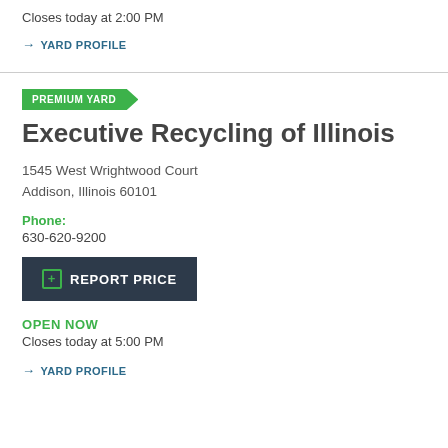Closes today at 2:00 PM
→ YARD PROFILE
PREMIUM YARD
Executive Recycling of Illinois
1545 West Wrightwood Court
Addison, Illinois 60101
Phone:
630-620-9200
⊞ REPORT PRICE
OPEN NOW
Closes today at 5:00 PM
→ YARD PROFILE